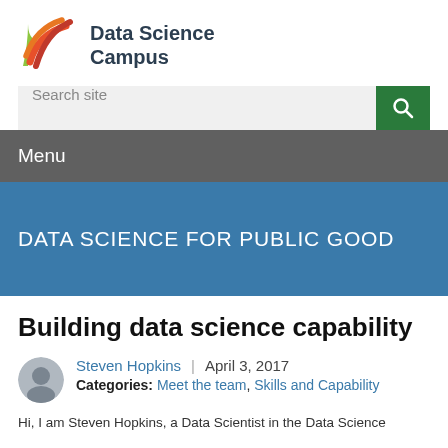[Figure (logo): Data Science Campus logo with colorful swoosh graphic and text 'Data Science Campus']
[Figure (screenshot): Search site input bar with green search button]
Menu
DATA SCIENCE FOR PUBLIC GOOD
Building data science capability
Steven Hopkins | April 3, 2017
Categories: Meet the team, Skills and Capability
Hi, I am Steven Hopkins, a Data Scientist in the Data Science